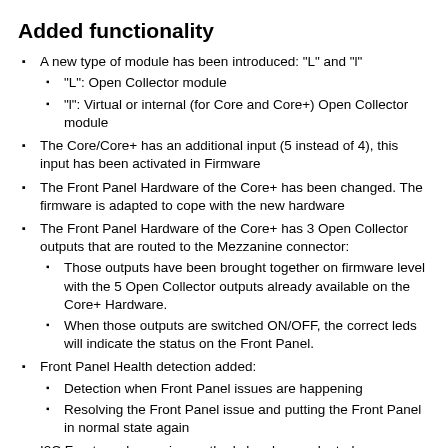Added functionality
A new type of module has been introduced: "L" and "l"
"L": Open Collector module
"l": Virtual or internal (for Core and Core+) Open Collector module
The Core/Core+ has an additional input (5 instead of 4), this input has been activated in Firmware
The Front Panel Hardware of the Core+ has been changed. The firmware is adapted to cope with the new hardware
The Front Panel Hardware of the Core+ has 3 Open Collector outputs that are routed to the Mezzanine connector:
Those outputs have been brought together on firmware level with the 5 Open Collector outputs already available on the Core+ Hardware.
When those outputs are switched ON/OFF, the correct leds will indicate the status on the Front Panel.
Front Panel Health detection added:
Detection when Front Panel issues are happening
Resolving the Front Panel issue and putting the Front Panel in normal state again
I2C Frontpanel scanning methods has been adapted:
In the past, the front panel buttons were scanned every 100ms
In the new Hardware revision, the INT pin of both